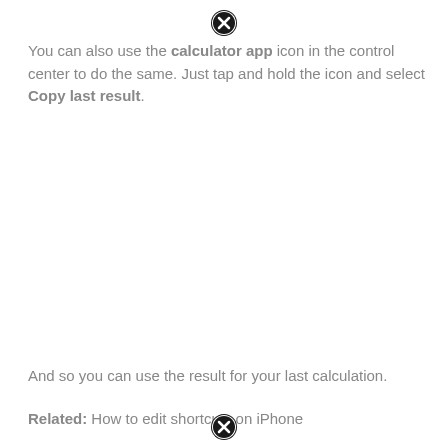[Figure (other): Close/cancel icon (circle with X) at top center]
You can also use the calculator app icon in the control center to do the same. Just tap and hold the icon and select Copy last result.
And so you can use the result for your last calculation.
Related: How to edit shortcuts on iPhone
[Figure (other): Close/cancel icon (circle with X) at bottom center]